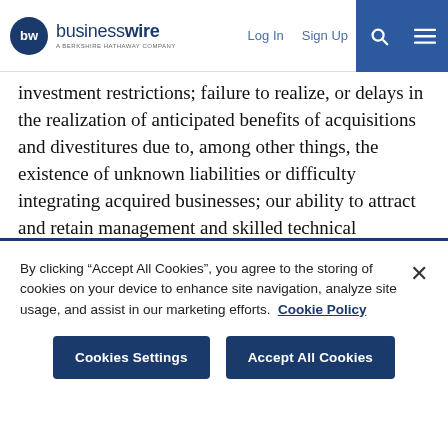businesswire — A BERKSHIRE HATHAWAY COMPANY | Log In | Sign Up
investment restrictions; failure to realize, or delays in the realization of anticipated benefits of acquisitions and divestitures due to, among other things, the existence of unknown liabilities or difficulty integrating acquired businesses; our ability to attract and retain management and skilled technical personnel; our ability to protect our proprietary technology from infringement by third parties and/or allegations that our technology infringes third party rights; changes in effective tax rates or tax laws and regulations in the jurisdictions in which we operate; failure to comply with financial and restrictive covenants in our credit agreement or restrictions on our operational
By clicking “Accept All Cookies”, you agree to the storing of cookies on your device to enhance site navigation, analyze site usage, and assist in our marketing efforts. Cookie Policy
Cookies Settings
Accept All Cookies